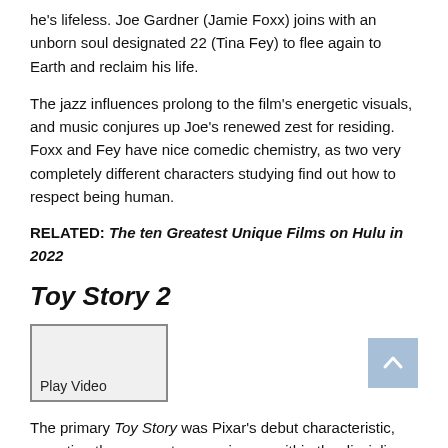he's lifeless. Joe Gardner (Jamie Foxx) joins with an unborn soul designated 22 (Tina Fey) to flee again to Earth and reclaim his life.
The jazz influences prolong to the film’s energetic visuals, and music conjures up Joe’s renewed zest for residing. Foxx and Fey have nice comedic chemistry, as two very completely different characters studying find out how to respect being human.
RELATED: The ten Greatest Unique Films on Hulu in 2022
Toy Story 2
[Figure (screenshot): Video player placeholder with a Play Video button and a scroll-to-top arrow button]
The primary Toy Story was Pixar’s debut characteristic, asserting the corporate as a pioneer within the discipline